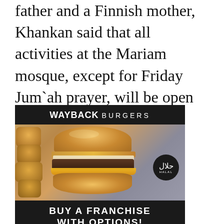father and a Finnish mother, Khankan said that all activities at the Mariam mosque, except for Friday Jum`ah prayer, will be open to both men and women.
[Figure (illustration): Wayback Burgers advertisement showing a burger with melted cheese and tater tots, a halal certification badge, and text 'BUY A FRANCHISE WITH OPTIONS!' with a 'LEARN MORE' button.]